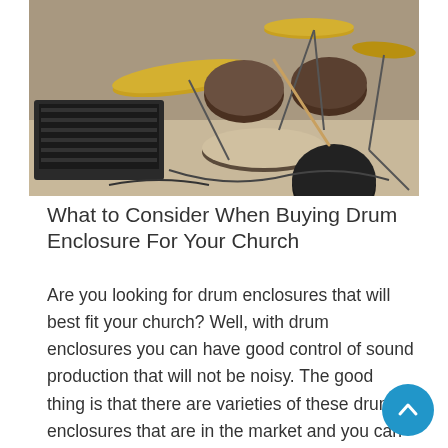[Figure (photo): Overhead view of a drum kit setup with cymbals, snare, toms, bass drum pad, and a laptop on a stand in a rehearsal or studio setting.]
What to Consider When Buying Drum Enclosure For Your Church
Are you looking for drum enclosures that will best fit your church? Well, with drum enclosures you can have good control of sound production that will not be noisy. The good thing is that there are varieties of these drum enclosures that are in the market and you can check out the one that would revolutionize the sound that will be pleasant. Research well to know the designs, sizes and brands of drum enclosures that are on sale so that you can know the one that you can order. Here are some tips